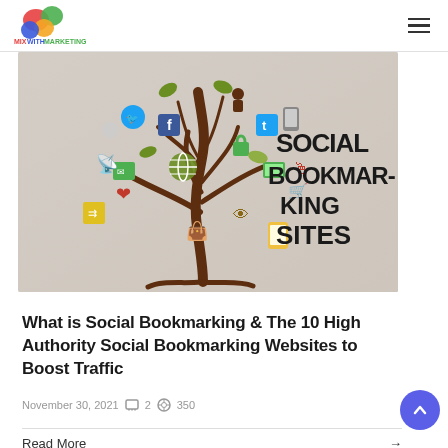MixWithMarketing — navigation bar with logo and hamburger menu
[Figure (illustration): Social bookmarking illustration: a tree with social media icons (Facebook, Twitter, email, share, etc.) as branches/leaves, with bold text 'SOCIAL BOOKMARKING SITES' on the right side of the image.]
What is Social Bookmarking & The 10 High Authority Social Bookmarking Websites to Boost Traffic
November 30, 2021  2  350
Read More →